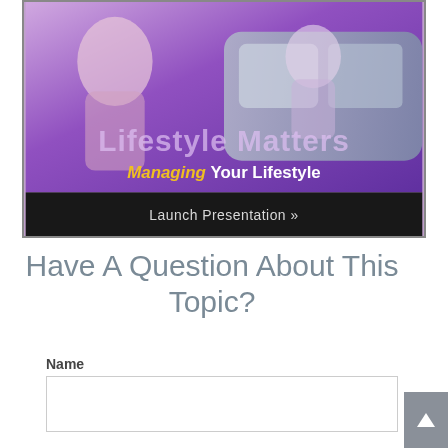[Figure (illustration): A promotional banner for 'Lifestyle Matters – Managing Your Lifestyle' showing people near a car with a purple gradient background. The banner includes text 'Lifestyle Matters' in large semi-transparent letters, subtitle 'Managing Your Lifestyle' with 'Managing' in gold italic and the rest in white, and a dark bar at the bottom reading 'Launch Presentation »'.]
Have A Question About This Topic?
Name